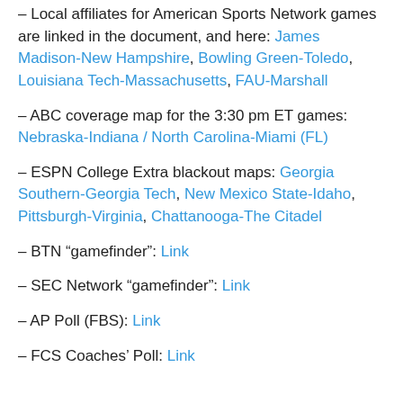– Local affiliates for American Sports Network games are linked in the document, and here: James Madison-New Hampshire, Bowling Green-Toledo, Louisiana Tech-Massachusetts, FAU-Marshall
– ABC coverage map for the 3:30 pm ET games: Nebraska-Indiana / North Carolina-Miami (FL)
– ESPN College Extra blackout maps: Georgia Southern-Georgia Tech, New Mexico State-Idaho, Pittsburgh-Virginia, Chattanooga-The Citadel
– BTN “gamefinder”:  Link
– SEC Network “gamefinder”: Link
– AP Poll (FBS):  Link
– FCS Coaches’ Poll:  Link